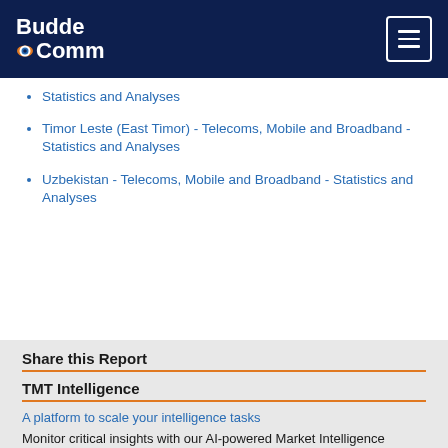BuddeComm
Statistics and Analyses
Timor Leste (East Timor) - Telecoms, Mobile and Broadband - Statistics and Analyses
Uzbekistan - Telecoms, Mobile and Broadband - Statistics and Analyses
Share this Report
TMT Intelligence
A platform to scale your intelligence tasks
Monitor critical insights with our AI-powered Market Intelligence Platform gathering and analyzing intelligence in real time. With AI trained to spot